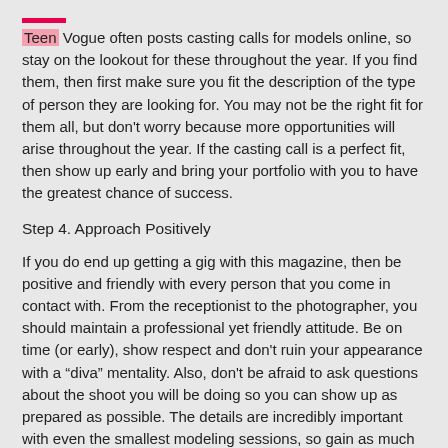Teen Vogue often posts casting calls for models online, so stay on the lookout for these throughout the year. If you find them, then first make sure you fit the description of the type of person they are looking for. You may not be the right fit for them all, but don't worry because more opportunities will arise throughout the year. If the casting call is a perfect fit, then show up early and bring your portfolio with you to have the greatest chance of success.
Step 4. Approach Positively
If you do end up getting a gig with this magazine, then be positive and friendly with every person that you come in contact with. From the receptionist to the photographer, you should maintain a professional yet friendly attitude. Be on time (or early), show respect and don't ruin your appearance with a “diva” mentality. Also, don't be afraid to ask questions about the shoot you will be doing so you can show up as prepared as possible. The details are incredibly important with even the smallest modeling sessions, so gain as much insight into the situation as you can before you actually get there.